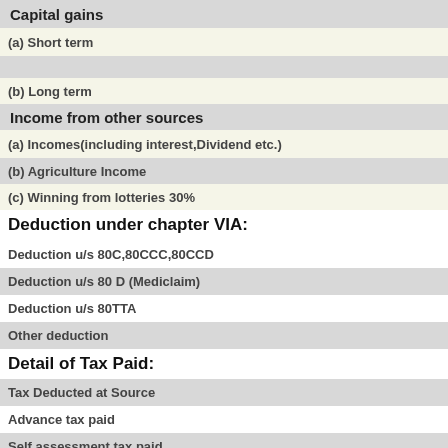Capital gains
(a) Short term
(b) Long term
Income from other sources
(a) Incomes(including interest,Dividend etc.)
(b) Agriculture Income
(c) Winning from lotteries 30%
Deduction under chapter VIA:
Deduction u/s 80C,80CCC,80CCD
Deduction u/s 80 D (Mediclaim)
Deduction u/s 80TTA
Other deduction
Detail of Tax Paid:
Tax Deducted at Source
Advance tax paid
Self assessment tax paid
Total Taxpa